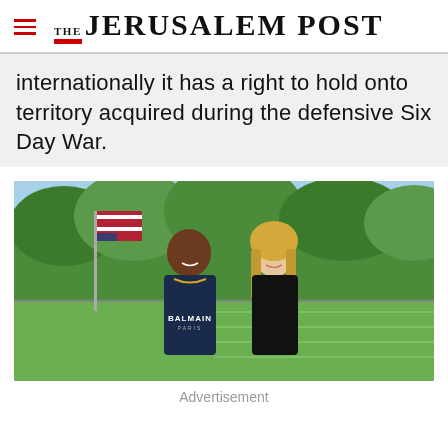THE JERUSALEM POST
internationally it has a right to hold onto territory acquired during the defensive Six Day War.
[Figure (photo): Two people posing together outdoors; one wearing a navy Balmain Paris t-shirt and a gold chain, the other a blonde woman in a black top. An American flag is visible behind them, with green trees and a sports field in the background.]
Advertisement